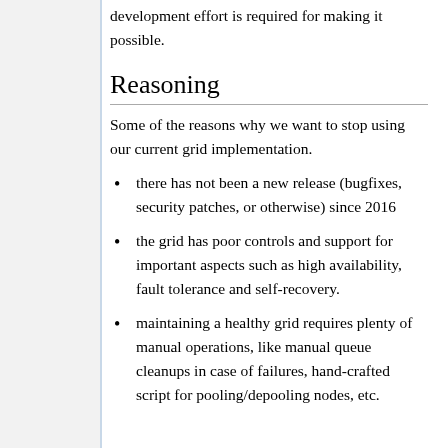development effort is required for making it possible.
Reasoning
Some of the reasons why we want to stop using our current grid implementation.
there has not been a new release (bugfixes, security patches, or otherwise) since 2016
the grid has poor controls and support for important aspects such as high availability, fault tolerance and self-recovery.
maintaining a healthy grid requires plenty of manual operations, like manual queue cleanups in case of failures, hand-crafted script for pooling/depooling nodes, etc.